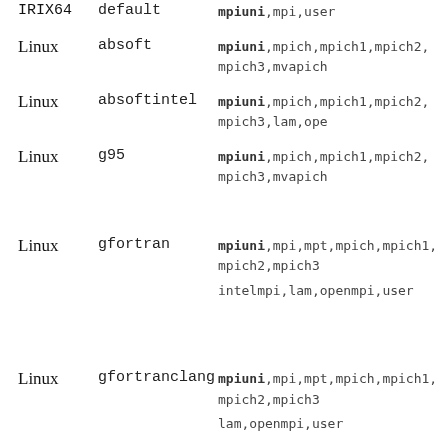| OS | Compiler | MPI options |
| --- | --- | --- |
| IRIX64 | default | mpiuni, mpi, user |
| Linux | absoft | mpiuni, mpich, mpich1, mpich2, mpich3, mvapich... |
| Linux | absoftintel | mpiuni, mpich, mpich1, mpich2, mpich3, lam, ope... |
| Linux | g95 | mpiuni, mpich, mpich1, mpich2, mpich3, mvapich... |
| Linux | gfortran | mpiuni, mpi, mpt, mpich, mpich1, mpich2, mpich3, intelmpi, lam, openmpi, user |
| Linux | gfortranclang | mpiuni, mpi, mpt, mpich, mpich1, mpich2, mpich3, lam, openmpi, user |